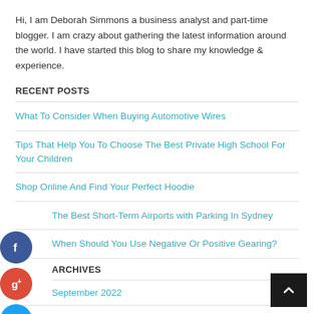Hi, I am Deborah Simmons a business analyst and part-time blogger. I am crazy about gathering the latest information around the world. I have started this blog to share my knowledge & experience.
RECENT POSTS
What To Consider When Buying Automotive Wires
Tips That Help You To Choose The Best Private High School For Your Children
Shop Online And Find Your Perfect Hoodie
The Best Short-Term Airports with Parking In Sydney
When Should You Use Negative Or Positive Gearing?
ARCHIVES
September 2022
August 2022